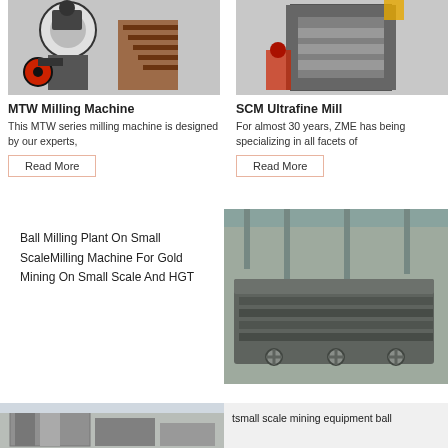[Figure (photo): MTW milling machine in industrial workshop, large industrial grinder with red wheel and stairs]
[Figure (photo): SCM Ultrafine Mill machine, large press-type grey industrial machine in factory]
MTW Milling Machine
This MTW series milling machine is designed by our experts,
Read More
SCM Ultrafine Mill
For almost 30 years, ZME has being specializing in all facets of
Read More
Ball Milling Plant On Small ScaleMilling Machine For Gold Mining On Small Scale And HGT
[Figure (photo): Vibratory feeder or screening machine, large dark grey industrial machine with handles in factory]
[Figure (photo): Small scale mining equipment building exterior]
tsmall scale mining equipment ball